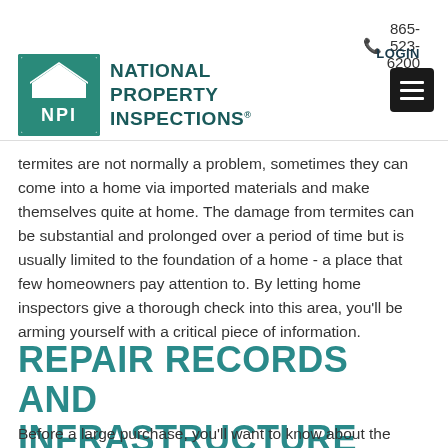865-523-6200  LOGIN
[Figure (logo): National Property Inspections (NPI) logo with teal square containing house icon and NPI letters, alongside company name text]
termites are not normally a problem, sometimes they can come into a home via imported materials and make themselves quite at home. The damage from termites can be substantial and prolonged over a period of time but is usually limited to the foundation of a home - a place that few homeowners pay attention to. By letting home inspectors give a thorough check into this area, you'll be arming yourself with a critical piece of information.
REPAIR RECORDS AND INFRASTRUCTURE
Before a large purchase, you'll want to know about the